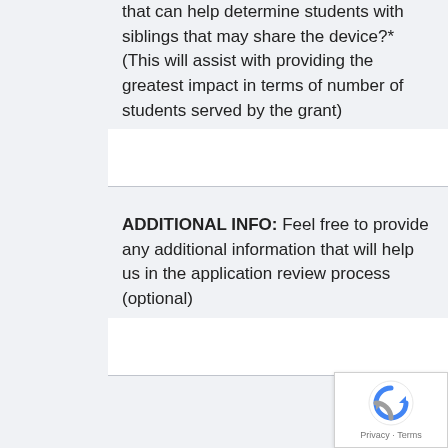that can help determine students with siblings that may share the device?* (This will assist with providing the greatest impact in terms of number of students served by the grant)
ADDITIONAL INFO: Feel free to provide any additional information that will help us in the application review process (optional)